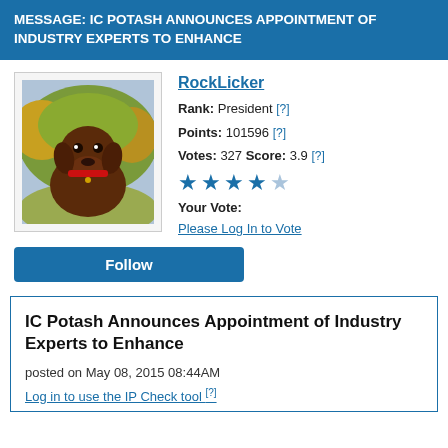MESSAGE: IC POTASH ANNOUNCES APPOINTMENT OF INDUSTRY EXPERTS TO ENHANCE
RockLicker
Rank: President [?]
Points: 101596 [?]
Votes: 327 Score: 3.9 [?]
★★★★☆
Your Vote:
Please Log In to Vote
[Figure (photo): Photo of a chocolate Labrador Retriever dog with a red collar, sitting in a field with yellow and green foliage in the background.]
Follow
IC Potash Announces Appointment of Industry Experts to Enhance
posted on May 08, 2015 08:44AM
Log in to use the IP Check tool [?]